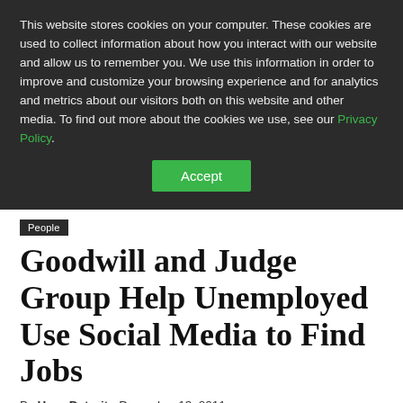This website stores cookies on your computer. These cookies are used to collect information about how you interact with our website and allow us to remember you. We use this information in order to improve and customize your browsing experience and for analytics and metrics about our visitors both on this website and other media. To find out more about the cookies we use, see our Privacy Policy.
Accept
People
Goodwill and Judge Group Help Unemployed Use Social Media to Find Jobs
By Hour Detroit - December 13, 2011
DETROIT – As the organization celebrates 90 years of helping Metro Detroiters earn employment opportunities,